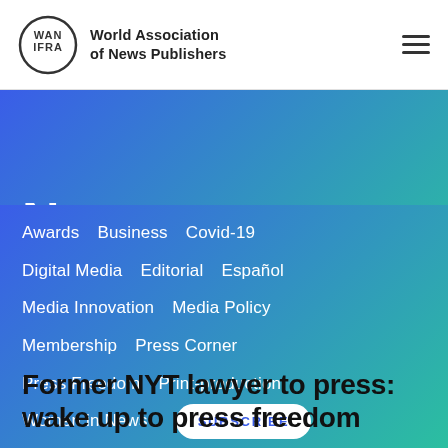World Association of News Publishers
News
Awards
Business
Covid-19
Digital Media
Editorial
Español
Media Innovation
Media Policy
Membership
Press Corner
Press Freedom
Print-production
Women in News
SUBSCRIBE
Former NYT lawyer to press: wake up to press freedom